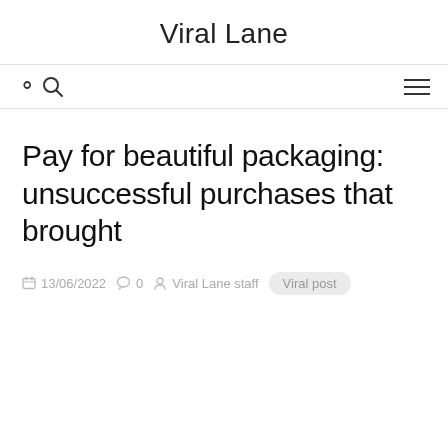Viral Lane
Pay for beautiful packaging: unsuccessful purchases that brought
13/06/2022  0  Viral Lane staff  Viral post